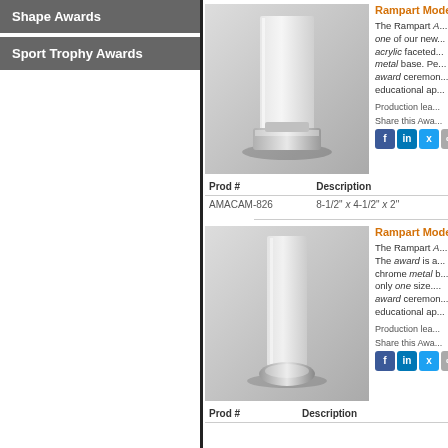Shape Awards
Sport Trophy Awards
Rampart Mode...
The Rampart A... one of our new... acrylic faceted... metal base. Pe... award ceremon... educational ap...
Production lea...
Share this Awa...
[Figure (photo): Award product photo 1 - acrylic and metal award]
| Prod # | Description |
| --- | --- |
| AMACAM-826 | 8-1/2" x 4-1/2" x 2" |
Rampart Mode...
The Rampart A... The award is a... chrome metal b... only one size.... award ceremon... educational ap...
Production lea...
Share this Awa...
[Figure (photo): Award product photo 2 - acrylic award with chrome metal base]
| Prod # | Description |
| --- | --- |